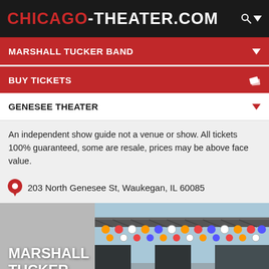CHICAGO-THEATER.COM
MARSHALL TUCKER BAND
BUY TICKETS
GENESEE THEATER
An independent show guide not a venue or show. All tickets 100% guaranteed, some are resale, prices may be above face value.
203 North Genesee St, Waukegan, IL 60085
[Figure (photo): Concert stage with colorful lights on a truss rig, Marshall Tucker Band text overlay on left side]
You know the drill, websites need cookies to make them work. Details of how we do it here.
Got it!